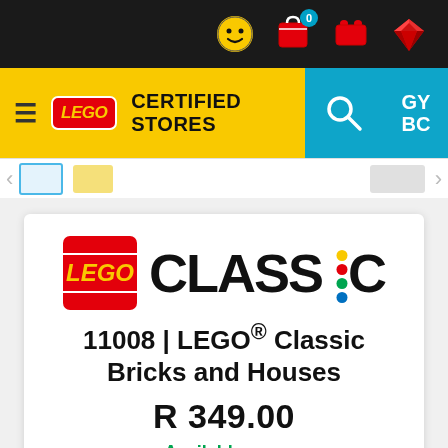[Figure (screenshot): Top dark navigation bar with LEGO minifigure icon, shopping bag icon with count 0, red LEGO brick icon, and red diamond/ruby icon]
[Figure (screenshot): Yellow navigation bar with hamburger menu, LEGO logo badge, CERTIFIED STORES text, and blue section with search and account icons]
[Figure (screenshot): Product thumbnail strip with left arrow, blue-outlined product thumbnail, yellow product thumbnail, grey product thumbnail, and right arrow]
[Figure (logo): LEGO Classic logo: red box with LEGO badge on the left, large CLASSIC text on the right with colorful brick studs on the I]
11008 | LEGO® Classic Bricks and Houses
R 349.00
Available now
Submit Review